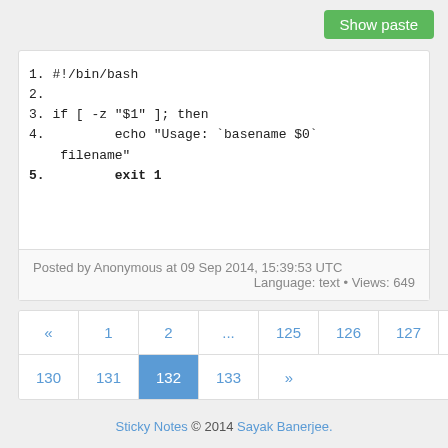Show paste
1. #!/bin/bash
2.
3. if [ -z "$1" ]; then
4.         echo "Usage: `basename $0` filename"
5.         exit 1
Posted by Anonymous at 09 Sep 2014, 15:39:53 UTC
Language: text • Views: 649
« 1 2 ... 125 126 127 128 129 130 131 132 133 »
Sticky Notes © 2014 Sayak Banerjee.